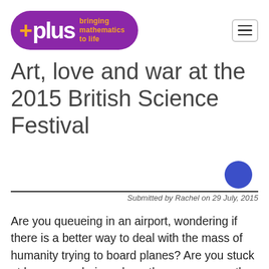[Figure (logo): Plus magazine logo — purple pill shape containing white '+plus' text and orange tagline 'bringing mathematics to life']
Art, love and war at the 2015 British Science Festival
Submitted by Rachel on 29 July, 2015
Are you queueing in an airport, wondering if there is a better way to deal with the mass of humanity trying to board planes? Are you stuck at home wondering where the summer weather has gone? Would you like to see our information overloaded world in a more beautiful way? Do you think the